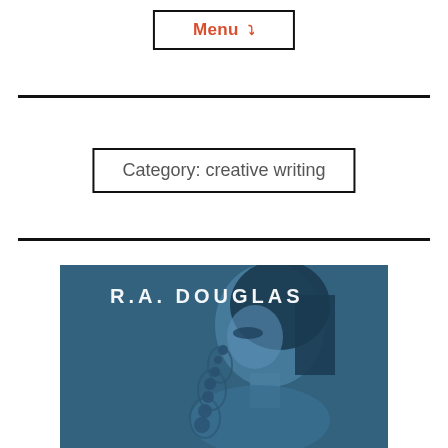Menu ˅
Category: creative writing
[Figure (illustration): Book cover or promotional image with a blue-tinted portrait of a woman wearing ornate jewelry, with text 'R.A. DOUGLAS' in white lettering at the top]